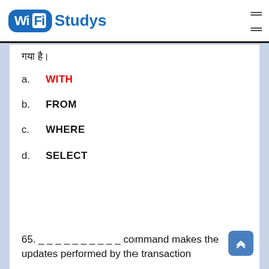Wi Fi Studys
गया है।
a. WITH
b. FROM
c. WHERE
d. SELECT
65. __________ command makes the updates performed by the transaction